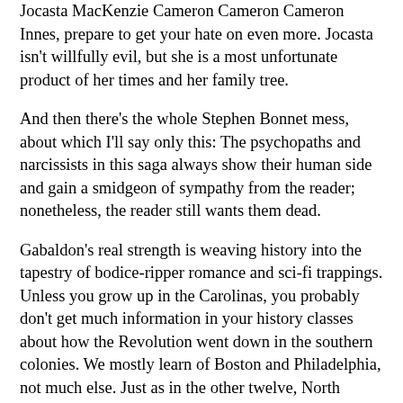Jocasta MacKenzie Cameron Cameron Cameron Innes, prepare to get your hate on even more. Jocasta isn't willfully evil, but she is a most unfortunate product of her times and her family tree.
And then there's the whole Stephen Bonnet mess, about which I'll say only this: The psychopaths and narcissists in this saga always show their human side and gain a smidgeon of sympathy from the reader; nonetheless, the reader still wants them dead.
Gabaldon's real strength is weaving history into the tapestry of bodice-ripper romance and sci-fi trappings. Unless you grow up in the Carolinas, you probably don't get much information in your history classes about how the Revolution went down in the southern colonies. We mostly learn of Boston and Philadelphia, not much else. Just as in the other twelve, North Carolina had its share of nasty colonist-on-colonist violence between the War of Regulation and the siege of Boston. Declaring yourself for one side or the other could be not just a death sentence but a "whole family tortured and killed plus your servants and your livestock stolen" sentence. But staying neutral didn't improve the situation. A group of settlers on a 10,000-acre plot in the Carolina Piedmont in the 1770s could take nothing for granted and